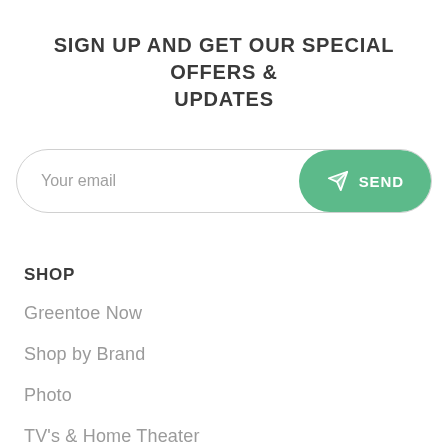SIGN UP AND GET OUR SPECIAL OFFERS & UPDATES
[Figure (other): Email signup form with 'Your email' placeholder input and a green rounded 'SEND' button with paper plane icon]
SHOP
Greentoe Now
Shop by Brand
Photo
TV's & Home Theater